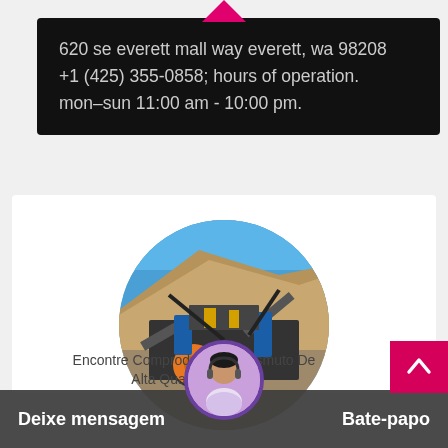620 se everett mall way everett, wa 98208 +1 (425) 355-0858; hours of operation. mon–sun 11:00 am - 10:00 pm.
[Figure (photo): Circular photo of a mining/quarry processing facility with conveyor belts, crushers, and machinery against a hillside and blue sky background.]
Encontre Compradores De Bismuto De Alta Qualidade Para
Deixe mensagem
Bate-papo